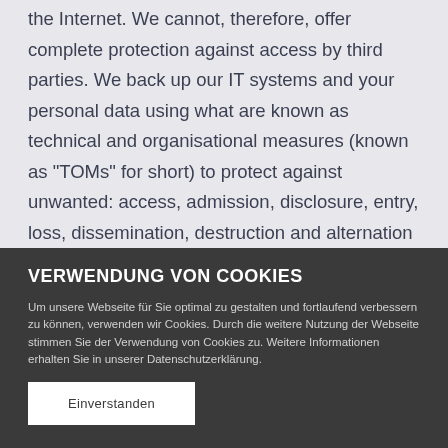the Internet. We cannot, therefore, offer complete protection against access by third parties. We back up our IT systems and your personal data using what are known as technical and organisational measures (known as "TOMs" for short) to protect against unwanted: access, admission, disclosure, entry, loss, dissemination, destruction and alternation by unauthorised individuals. These will be adapted accordingly in line with the state of the
VERWENDUNG VON COOKIES
Um unsere Webseite für Sie optimal zu gestalten und fortlaufend verbessern zu können, verwenden wir Cookies. Durch die weitere Nutzung der Webseite stimmen Sie der Verwendung von Cookies zu. Weitere Informationen erhalten Sie in unserer Datenschutzerklärung.
Einverstanden